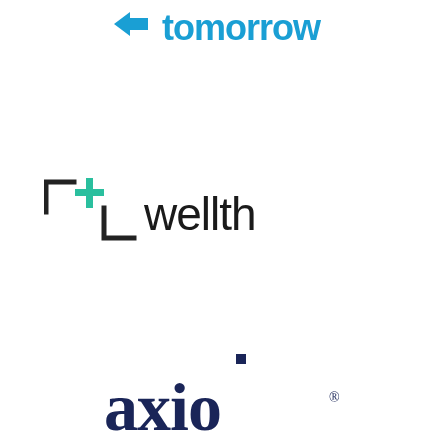[Figure (logo): Tomorrow logo in blue with a forward-arrow icon and the word 'tomorrow' in bold blue text, partially cropped at top]
[Figure (logo): Wellth logo with a teal/green plus sign inside a bracket-corner frame, followed by 'wellth' in dark gray/black lowercase text]
[Figure (logo): axio logo in dark navy blue serif font with a small navy square above the 'i', with a registered trademark symbol]